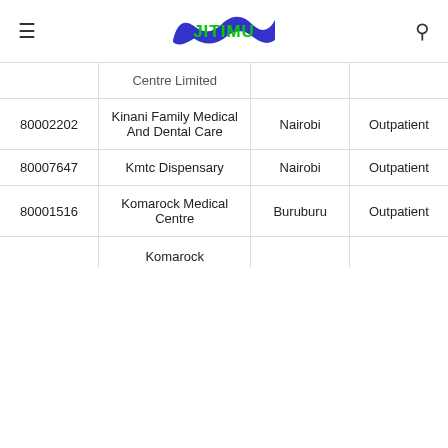JITIMU
| Code | Name | Location | Type |
| --- | --- | --- | --- |
|  | Centre Limited |  |  |
| 80002202 | Kinani Family Medical And Dental Care | Nairobi | Outpatient |
| 80007647 | Kmtc Dispensary | Nairobi | Outpatient |
| 80001516 | Komarock Medical Centre | Buruburu | Outpatient |
|  | Komarock |  |  |